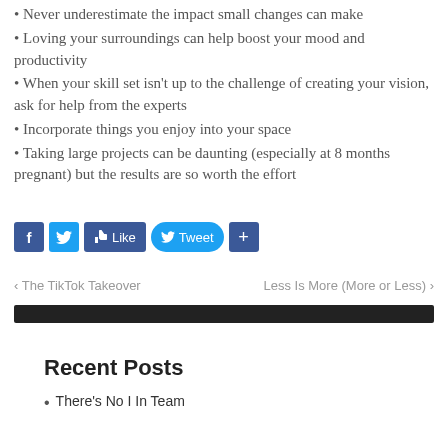Never underestimate the impact small changes can make
Loving your surroundings can help boost your mood and productivity
When your skill set isn't up to the challenge of creating your vision, ask for help from the experts
Incorporate things you enjoy into your space
Taking large projects can be daunting (especially at 8 months pregnant) but the results are so worth the effort
[Figure (other): Social sharing buttons: Facebook icon, Twitter icon, Like button, Tweet button, plus button]
‹ The TikTok Takeover    Less Is More (More or Less) ›
Recent Posts
There's No I In Team